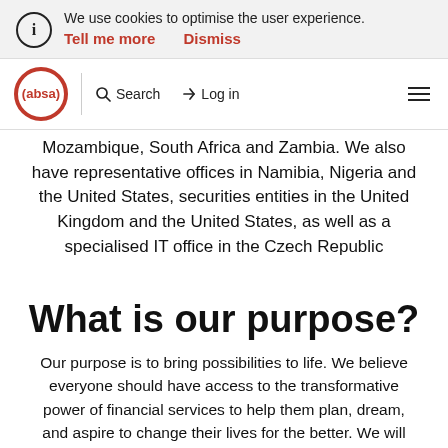We use cookies to optimise the user experience. Tell me more  Dismiss
[Figure (logo): Absa bank logo — red circle with white text (absa) inside, with navigation bar including Search and Log in links]
Mozambique, South Africa and Zambia. We also have representative offices in Namibia, Nigeria and the United States, securities entities in the United Kingdom and the United States, as well as a specialised IT office in the Czech Republic
What is our purpose?
Our purpose is to bring possibilities to life. We believe everyone should have access to the transformative power of financial services to help them plan, dream, and aspire to change their lives for the better. We will find creative ways to deliver innovative technologies and propositions to make more possible, and we will